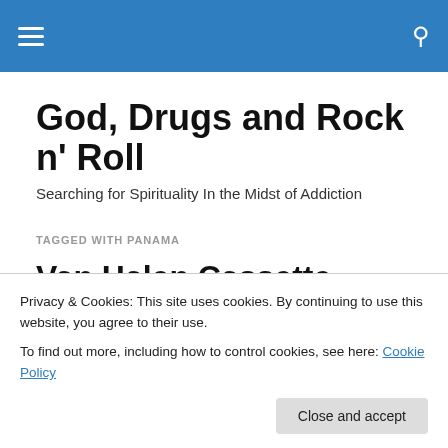God, Drugs and Rock n' Roll — navigation header with hamburger menu and search icon
God, Drugs and Rock n' Roll
Searching for Spirituality In the Midst of Addiction
TAGGED WITH PANAMA
Van Halen Cassette tapes, Kindergarten Underpants. Atari
Privacy & Cookies: This site uses cookies. By continuing to use this website, you agree to their use.
To find out more, including how to control cookies, see here: Cookie Policy
Close and accept